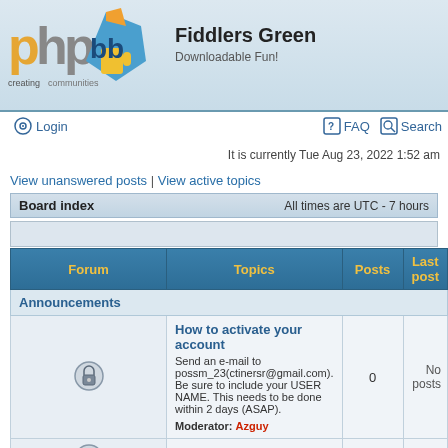[Figure (logo): phpBB logo with text 'creating communities']
Fiddlers Green
Downloadable Fun!
Login
FAQ   Search
It is currently Tue Aug 23, 2022 1:52 am
View unanswered posts | View active topics
| Board index | All times are UTC - 7 hours |
| --- | --- |
| Forum | Topics | Posts | Last post |
| --- | --- | --- | --- |
| Announcements |  |  |  |
| [lock icon] How to activate your account
Send an e-mail to possm_23(ctinersr@gmail.com). Be sure to include your USER NAME. This needs to be done within 2 days (ASAP).
Moderator: Azguy | 0 | 0 | No posts |
| [icon] Posting FAQs |  |  |  |